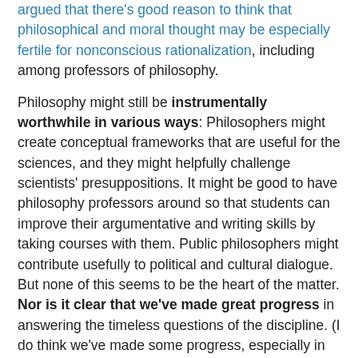argued that there's good reason to think that philosophical and moral thought may be especially fertile for nonconscious rationalization, including among professors of philosophy.
Philosophy might still be instrumentally worthwhile in various ways: Philosophers might create conceptual frameworks that are useful for the sciences, and they might helpfully challenge scientists' presuppositions. It might be good to have philosophy professors around so that students can improve their argumentative and writing skills by taking courses with them. Public philosophers might contribute usefully to political and cultural dialogue. But none of this seems to be the heart of the matter. Nor is it clear that we've made great progress in answering the timeless questions of the discipline. (I do think we've made some progress, especially in carving out the logical space of options.)
Here's what I would emphasize instead: Philosophy is an intrinsically worthwhile activity with no need of further excuse. It is simply one of the most glorious, awesome facts about our planet that there are bags of mostly-water that can step back from ordinary activity and reflect in a serious way